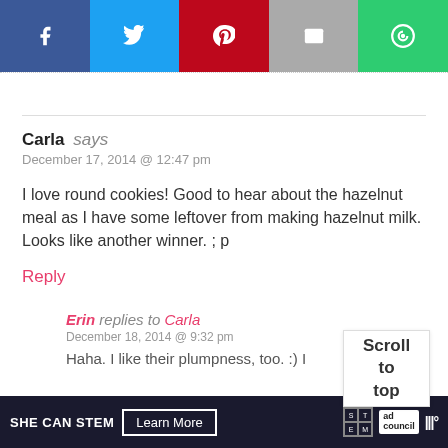[Figure (other): Social sharing bar with Facebook (blue), Twitter (light blue), Pinterest (red), Email (grey), and a green share button icons]
Carla says
December 17, 2014 @ 12:47 pm
I love round cookies! Good to hear about the hazelnut meal as I have some leftover from making hazelnut milk. Looks like another winner. ; p
Reply
Erin replies to Carla
December 18, 2014 @ 9:32 pm
Haha. I like their plumpness, too. :) I
Scroll to top
SHE CAN STEM  Learn More